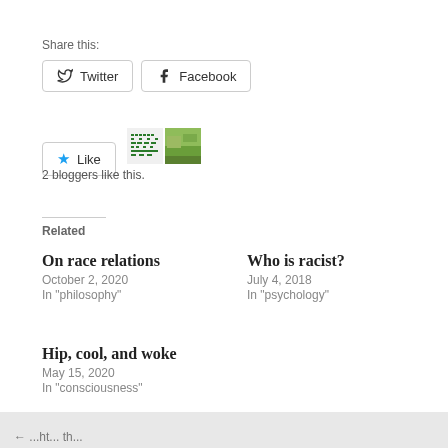Share this:
Twitter
Facebook
Like
2 bloggers like this.
Related
On race relations
October 2, 2020
In "philosophy"
Who is racist?
July 4, 2018
In "psychology"
Hip, cool, and woke
May 15, 2020
In "consciousness"
← ...